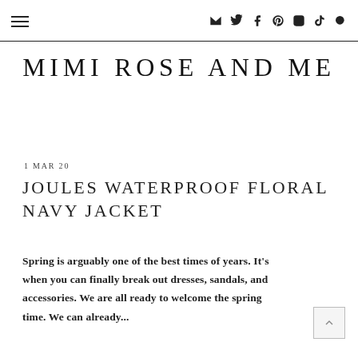≡ ✉ 𝕥 f ⓟ ⓘ ♪ 🔍
MIMI ROSE AND ME
1 MAR 20
JOULES WATERPROOF FLORAL NAVY JACKET
Spring is arguably one of the best times of years. It's when you can finally break out dresses, sandals, and accessories. We are all ready to welcome the spring time. We can already...